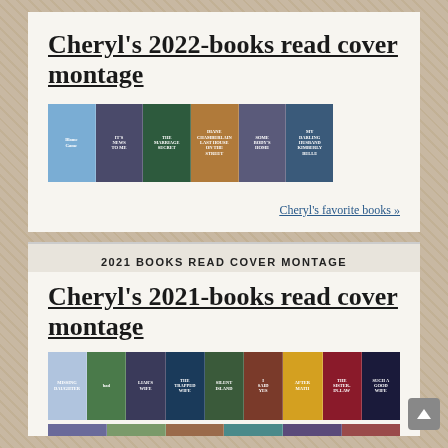Cheryl's 2022-books read cover montage
[Figure (illustration): A horizontal strip montage of 6 book covers for 2022 reads including: Blame Game, It's News to Me, The Marriage Secret (Carey McGovern), Diane Chamberlain's The Last House on the Street, Somebody's Home, My Darling Husband (Kimberly Belle)]
Cheryl's favorite books »
2021 BOOKS READ COVER MONTAGE
Cheryl's 2021-books read cover montage
[Figure (illustration): A horizontal strip montage of book covers for 2021 reads including: Missing Daughter, Bad, Liar's Wife, The Trapped Wife (Dana Perry), Silent Island, I Said Yes, After Math (Terri Blackstock), The Sister-In-Law, Such a Good Wife]
[Figure (illustration): Partial second row of 2021 book cover montage showing more books including Population Z by Mary Kubica and others by Dana Perry and Sally Hepworth]